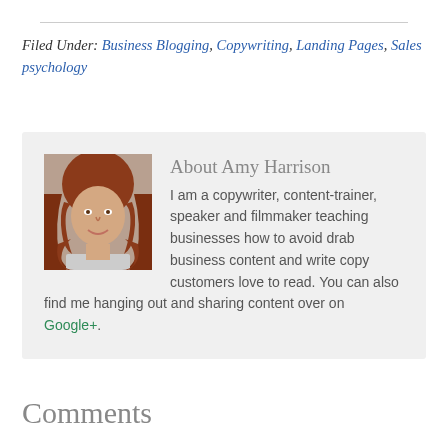Filed Under: Business Blogging, Copywriting, Landing Pages, Sales psychology
About Amy Harrison
I am a copywriter, content-trainer, speaker and filmmaker teaching businesses how to avoid drab business content and write copy customers love to read. You can also find me hanging out and sharing content over on Google+.
Comments